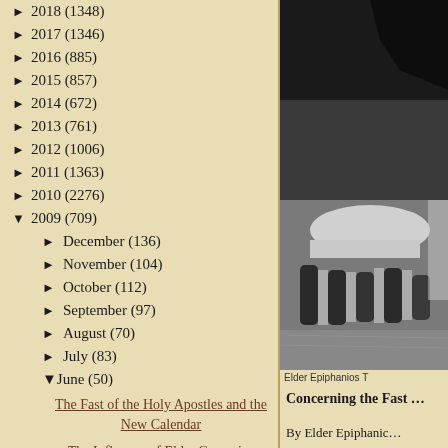► 2018 (1348)
► 2017 (1346)
► 2016 (885)
► 2015 (857)
► 2014 (672)
► 2013 (761)
► 2012 (1006)
► 2011 (1363)
► 2010 (2276)
▼ 2009 (709)
► December (136)
► November (104)
► October (112)
► September (97)
► August (70)
► July (83)
▼ June (50)
The Fast of the Holy Apostles and the New Calendar
The Influence of Elder Gervasios
[Figure (photo): Black and white photograph of Elder Epiphanios, showing a close-up view of hands or a figure, partially cropped]
Elder Epiphanios T
Concerning the Fast …
By Elder Epiphanic…